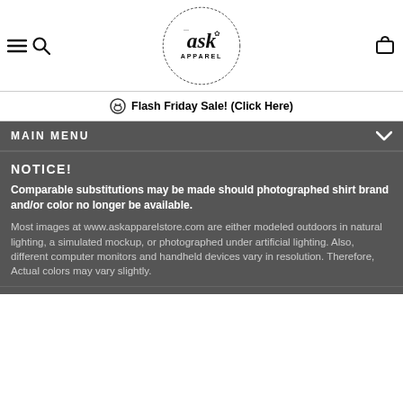[Figure (logo): ASK Apparel circular logo with script text and floral decoration]
Flash Friday Sale! (Click Here)
MAIN MENU
NOTICE!
Comparable substitutions may be made should photographed shirt brand and/or color no longer be available.
Most images at www.askapparelstore.com are either modeled outdoors in natural lighting, a simulated mockup, or photographed under artificial lighting. Also, different computer monitors and handheld devices vary in resolution. Therefore, Actual colors may vary slightly.